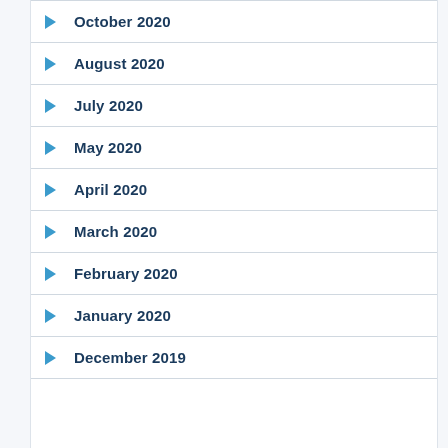October 2020
August 2020
July 2020
May 2020
April 2020
March 2020
February 2020
January 2020
December 2019